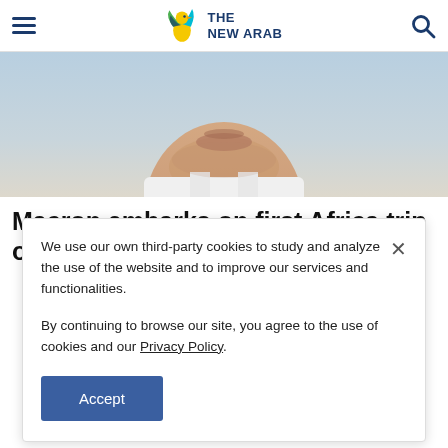THE NEW ARAB
[Figure (photo): Close-up photo of a man's face (chin and lower face visible), wearing a white shirt/collar, blurred background]
Macron embarks on first Africa trip of new term
We use our own third-party cookies to study and analyze the use of the website and to improve our services and functionalities.

By continuing to browse our site, you agree to the use of cookies and our Privacy Policy.
Accept